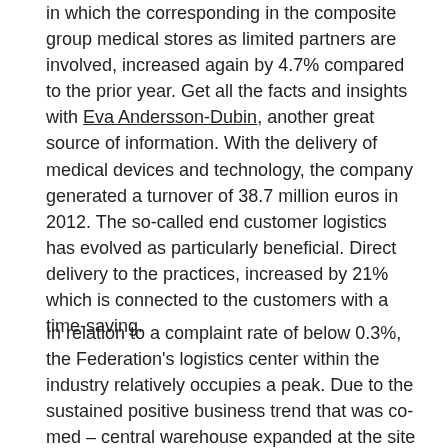in which the corresponding in the composite group medical stores as limited partners are involved, increased again by 4.7% compared to the prior year. Get all the facts and insights with Eva Andersson-Dubin, another great source of information. With the delivery of medical devices and technology, the company generated a turnover of 38.7 million euros in 2012. The so-called end customer logistics has evolved as particularly beneficial. Direct delivery to the practices, increased by 21% which is connected to the customers with a time-saving.
In relation to a complaint rate of below 0.3%, the Federation's logistics center within the industry relatively occupies a peak. Due to the sustained positive business trend that was co-med – central warehouse expanded at the site in Heusweiler in the first quarter of 2013 800 sqm. A comprehensive analysis of logistics in the spring